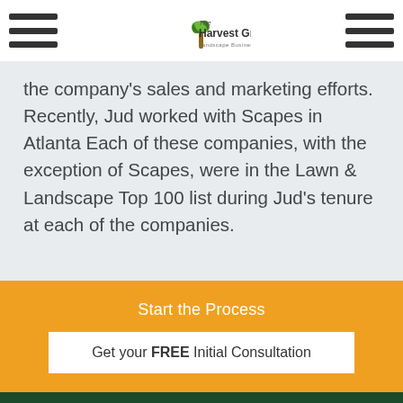The Harvest Group — Landscape Business Consulting
the company's sales and marketing efforts. Recently, Jud worked with Scapes in Atlanta Each of these companies, with the exception of Scapes, were in the Lawn & Landscape Top 100 list during Jud's tenure at each of the companies.
Start the Process
Get your FREE Initial Consultation